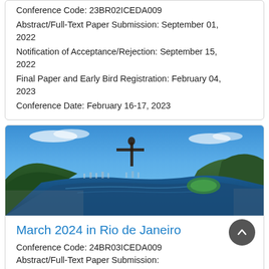Conference Code: 23BR02ICEDA009
Abstract/Full-Text Paper Submission: September 01, 2022
Notification of Acceptance/Rejection: September 15, 2022
Final Paper and Early Bird Registration: February 04, 2023
Conference Date: February 16-17, 2023
[Figure (photo): Aerial view of Rio de Janeiro from Christ the Redeemer statue, showing Lagoa Rodrigo de Freitas, surrounding mountains, and city]
March 2024 in Rio de Janeiro
Conference Code: 24BR03ICEDA009
Abstract/Full-Text Paper Submission: (partial)